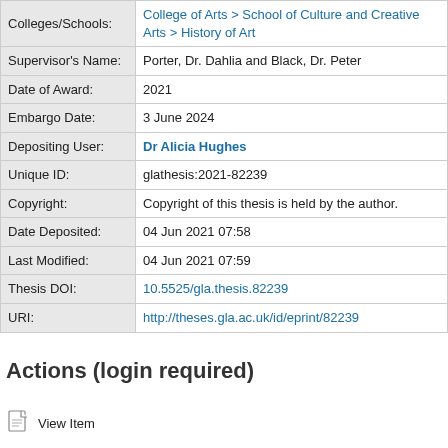| Field | Value |
| --- | --- |
| Colleges/Schools: | College of Arts > School of Culture and Creative Arts > History of Art |
| Supervisor's Name: | Porter, Dr. Dahlia and Black, Dr. Peter |
| Date of Award: | 2021 |
| Embargo Date: | 3 June 2024 |
| Depositing User: | Dr Alicia Hughes |
| Unique ID: | glathesis:2021-82239 |
| Copyright: | Copyright of this thesis is held by the author. |
| Date Deposited: | 04 Jun 2021 07:58 |
| Last Modified: | 04 Jun 2021 07:59 |
| Thesis DOI: | 10.5525/gla.thesis.82239 |
| URI: | http://theses.gla.ac.uk/id/eprint/82239 |
Actions (login required)
View Item